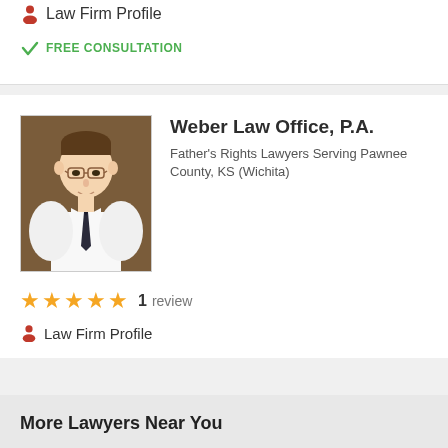Law Firm Website
Law Firm Profile
FREE CONSULTATION
Weber Law Office, P.A.
Father's Rights Lawyers Serving Pawnee County, KS (Wichita)
1 review
Law Firm Profile
More Lawyers Near You